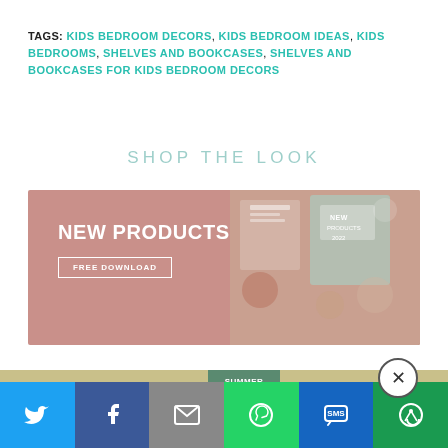TAGS: KIDS BEDROOM DECORS, KIDS BEDROOM IDEAS, KIDS BEDROOMS, SHELVES AND BOOKCASES, SHELVES AND BOOKCASES FOR KIDS BEDROOM DECORS
SHOP THE LOOK
[Figure (infographic): Pink banner ad for NEW PRODUCTS 2022 with FREE DOWNLOAD button, product images on right side]
[Figure (infographic): Tan/khaki banner showing SUMMER SALE text with product image]
[Figure (infographic): Social sharing bar with Twitter, Facebook, Email, WhatsApp, SMS, and other share buttons]